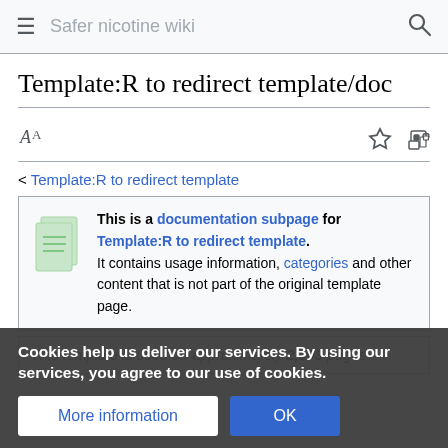Safer nicotine wiki
Template:R to redirect template/doc
< Template:R to redirect template
This is a documentation subpage for Template:R to redirect template. It contains usage information, categories and other content that is not part of the original template page.
This template is used on approximately 2,103 pages.
Cookies help us deliver our services. By using our services, you agree to our use of cookies.